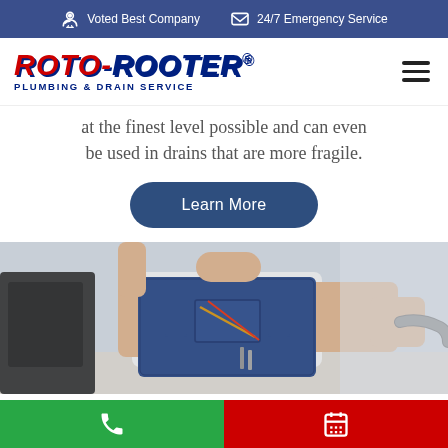Voted Best Company | 24/7 Emergency Service
[Figure (logo): Roto-Rooter Plumbing & Drain Service logo]
at the finest level possible and can even be used in drains that are more fragile.
Learn More
[Figure (photo): Plumber in blue overalls holding a hose/drain cable]
Call button | Schedule button